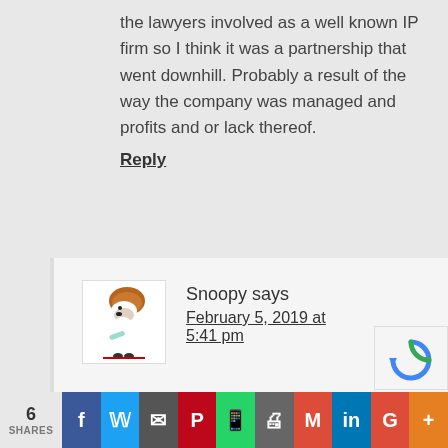the lawyers involved as a well known IP firm so I think it was a partnership that went downhill. Probably a result of the way the company was managed and profits and or lack thereof.
Reply
Snoopy says
February 5, 2019 at 5:41 pm
[Figure (illustration): Snoopy cartoon avatar wearing a football helmet]
Reading the lawsuit it seem revenue was expanded a lot,
6 SHARES | Facebook | Twitter | Email | Pinterest | WhatsApp | Print | Gmail | LinkedIn | Google+ | More